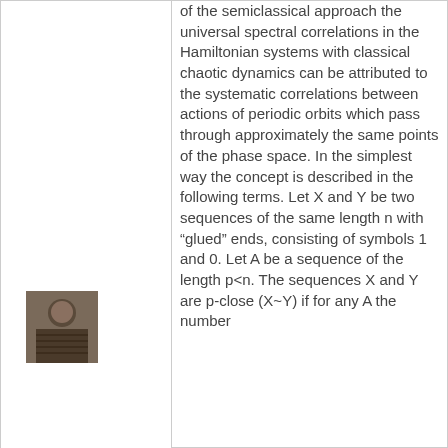[Figure (photo): Small portrait photo of a person, located in the left panel]
of the semiclassical approach the universal spectral correlations in the Hamiltonian systems with classical chaotic dynamics can be attributed to the systematic correlations between actions of periodic orbits which pass through approximately the same points of the phase space. In the simplest way the concept is described in the following terms. Let X and Y be two sequences of the same length n with "glued" ends, consisting of symbols 1 and 0. Let A be a sequence of the length p<n. The sequences X and Y are p-close (X~Y) if for any A the number